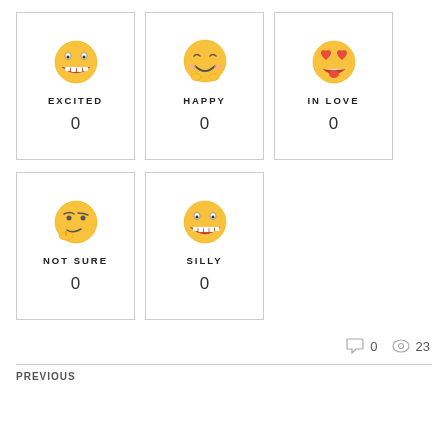[Figure (infographic): Five emoji reaction cards in a 3+2 grid layout. Each card shows an emoji face, a label in uppercase spaced letters, and a count of 0. Cards: EXCITED (grinning face), HAPPY (smiling face), IN LOVE (heart eyes face), NOT SURE (thinking face), SILLY (grinning face with teeth).]
0  23
PREVIOUS